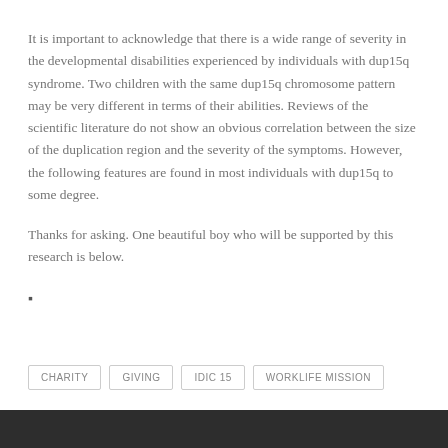It is important to acknowledge that there is a wide range of severity in the developmental disabilities experienced by individuals with dup15q syndrome. Two children with the same dup15q chromosome pattern may be very different in terms of their abilities. Reviews of the scientific literature do not show an obvious correlation between the size of the duplication region and the severity of the symptoms. However, the following features are found in most individuals with dup15q to some degree.
Thanks for asking. One beautiful boy who will be supported by this research is below.
CHARITY  GIVING  IDIC 15  WORKLIFE MISSION